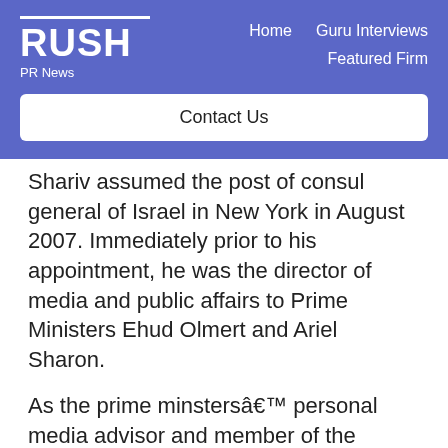[Figure (logo): Rush PR News logo with white horizontal line above RUSH text and PR News subtitle]
Home   Guru Interviews   Featured Firm
Contact Us
Shariv assumed the post of consul general of Israel in New York in August 2007. Immediately prior to his appointment, he was the director of media and public affairs to Prime Ministers Ehud Olmert and Ariel Sharon.
As the prime minstersâ€™ personal media advisor and member of the senior staff, his responsibilities included supervising the